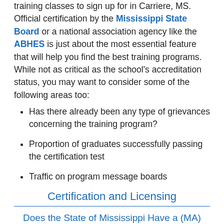training classes to sign up for in Carriere, MS. Official certification by the Mississippi State Board or a national association agency like the ABHES is just about the most essential feature that will help you find the best training programs. While not as critical as the school's accreditation status, you may want to consider some of the following areas too:
Has there already been any type of grievances concerning the training program?
Proportion of graduates successfully passing the certification test
Traffic on program message boards
Certification and Licensing
Does the State of Mississippi Have a (MA) Medical Assistant Certification Requirement That You Need to be Aware Of?
The AAMA – American Association of Medical